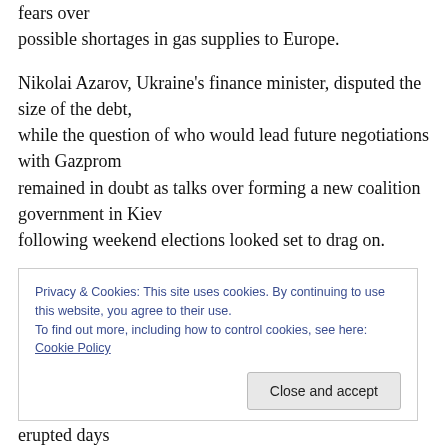fears over possible shortages in gas supplies to Europe.
Nikolai Azarov, Ukraine's finance minister, disputed the size of the debt, while the question of who would lead future negotiations with Gazprom remained in doubt as talks over forming a new coalition government in Kiev following weekend elections looked set to drag on.
President Viktor Yushchenko of Ukraine went further: “The
Privacy & Cookies: This site uses cookies. By continuing to use this website, you agree to their use.
To find out more, including how to control cookies, see here: Cookie Policy
Close and accept
erupted days